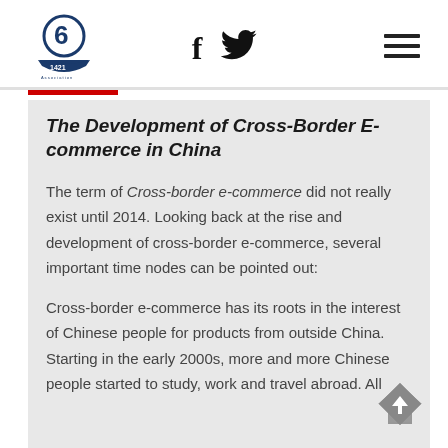Navigation header with logo, social icons (Facebook, Twitter), and hamburger menu
The Development of Cross-Border E-commerce in China
The term of Cross-border e-commerce did not really exist until 2014. Looking back at the rise and development of cross-border e-commerce, several important time nodes can be pointed out:
Cross-border e-commerce has its roots in the interest of Chinese people for products from outside China. Starting in the early 2000s, more and more Chinese people started to study, work and travel abroad. All